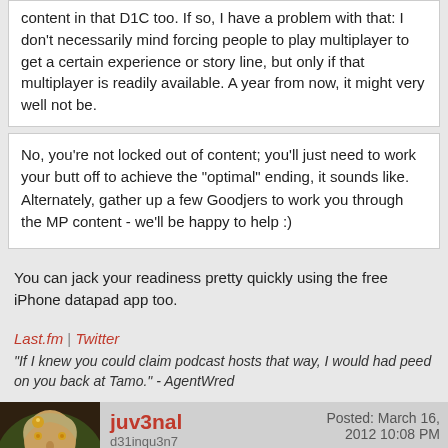content in that D1C too. If so, I have a problem with that: I don't necessarily mind forcing people to play multiplayer to get a certain experience or story line, but only if that multiplayer is readily available. A year from now, it might very well not be.
No, you're not locked out of content; you'll just need to work your butt off to achieve the "optimal" ending, it sounds like. Alternately, gather up a few Goodjers to work you through the MP content - we'll be happy to help :)
You can jack your readiness pretty quickly using the free iPhone datapad app too.
Last.fm | Twitter
"If I knew you could claim podcast hosts that way, I would had peed on you back at Tamo." - AgentWred
juv3nal
d31inqu3n7
Posted: March 16, 2012 10:08 PM
Alien Love Gardener wrote:
I'd be more worried about when EA shuts down the servers myself. My